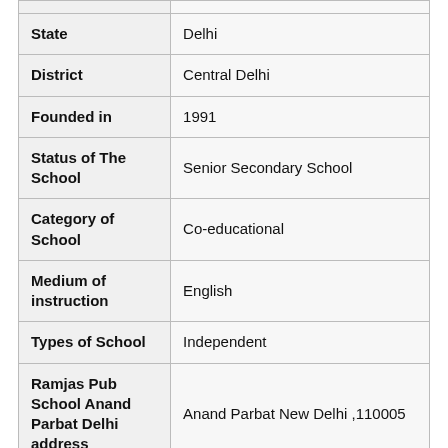| State | Delhi |
| District | Central Delhi |
| Founded in | 1991 |
| Status of The School | Senior Secondary School |
| Category of School | Co-educational |
| Medium of instruction | English |
| Types of School | Independent |
| Ramjas Pub School Anand Parbat Delhi address | Anand Parbat New Delhi ,110005 |